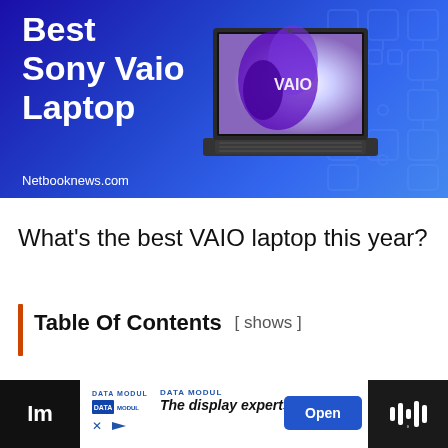[Figure (illustration): Hero banner with dark blue background featuring 'Best Sony Vaio Laptop' text in white on the left, a Sony VAIO laptop image on the right showing a purple smoke wallpaper with VAIO logo, decorative circuit-pattern overlay in lighter blue, and 'Netbooknews.com' URL at the bottom left.]
What’s the best VAIO laptop this year?
Table Of Contents  [ shows ]
[Figure (screenshot): Bottom advertisement bar: left dark section with 'Im' text visible, center white section with DATA MODUL logo, 'The display experts' tagline in bold italic, blue 'Open' button, right dark section with sound wave icon.]